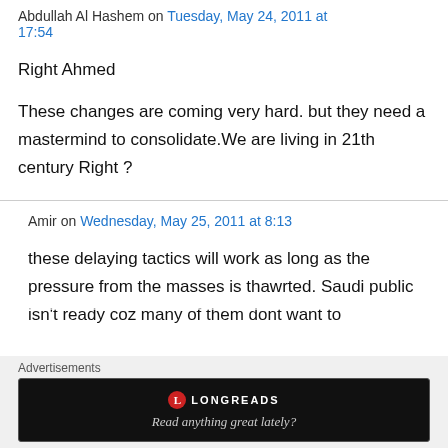Abdullah Al Hashem on Tuesday, May 24, 2011 at 17:54
Right Ahmed
These changes are coming very hard. but they need a mastermind to consolidate.We are living in 21th century Right ?
Amir on Wednesday, May 25, 2011 at 8:13
these delaying tactics will work as long as the pressure from the masses is thawrted. Saudi public isn't ready coz many of them dont want to
Advertisements
[Figure (screenshot): Longreads advertisement banner with logo and tagline 'Read anything great lately?']